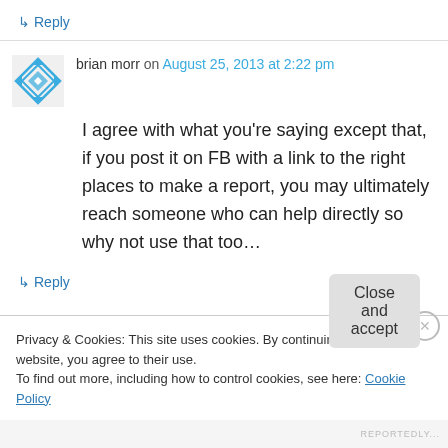↳ Reply
brian morr on August 25, 2013 at 2:22 pm
I agree with what you're saying except that, if you post it on FB with a link to the right places to make a report, you may ultimately reach someone who can help directly so why not use that too…
↳ Reply
Privacy & Cookies: This site uses cookies. By continuing to use this website, you agree to their use.
To find out more, including how to control cookies, see here: Cookie Policy